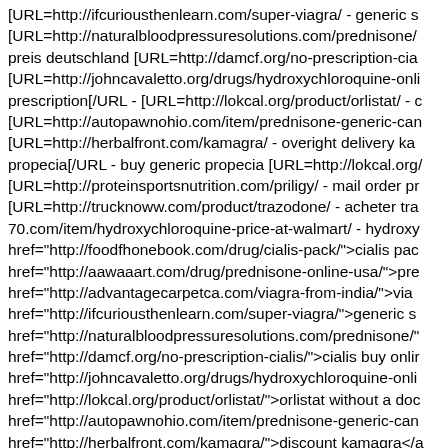[URL=http://ifcuriousthenlearn.com/super-viagra/ - generic s[URL=http://naturalbloodpressuresolutions.com/prednisone/ preis deutschland [URL=http://damcf.org/no-prescription-cia [URL=http://johncavaletto.org/drugs/hydroxychloroquine-onli prescription[/URL - [URL=http://lokcal.org/product/orlistat/ - c [URL=http://autopawnohio.com/item/prednisone-generic-can [URL=http://herbalfront.com/kamagra/ - overight delivery ka propecia[/URL - buy generic propecia [URL=http://lokcal.org/ [URL=http://proteinsportsnutrition.com/priligy/ - mail order pr [URL=http://trucknoww.com/product/trazodone/ - acheter tra 70.com/item/hydroxychloroquine-price-at-walmart/ - hydroxy href="http://foodfhonebook.com/drug/cialis-pack/">cialis pac href="http://aawaaart.com/drug/prednisone-online-usa/">pre href="http://advantagecarpetca.com/viagra-from-india/">via href="http://ifcuriousthenlearn.com/super-viagra/">generic s href="http://naturalbloodpressuresolutions.com/prednisone/" href="http://damcf.org/no-prescription-cialis/">cialis buy onlir href="http://johncavaletto.org/drugs/hydroxychloroquine-onli href="http://lokcal.org/product/orlistat/">orlistat without a doc href="http://autopawnohio.com/item/prednisone-generic-can href="http://herbalfront.com/kamagra/">discount kamagra</a propecia shipped with in canada</a> <a href="http://lokcal.o href="http://proteinsportsnutrition.com/priligy/">priligy</a> <a trazodone</a> <a href="http://wow-70.com/item/hydroxychlo http://foodfhonebook.com/drug/cialis-pack/ cialis pack online